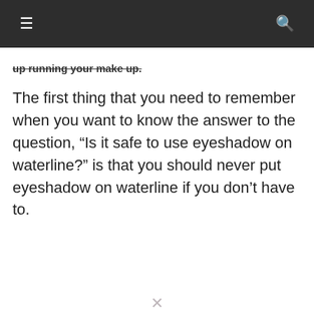≡   🔍
up running your make up.
The first thing that you need to remember when you want to know the answer to the question, "Is it safe to use eyeshadow on waterline?" is that you should never put eyeshadow on waterline if you don't have to.
[Figure (screenshot): Video player overlay showing 'No compatible source was found for this media.' with a close button, and text 'What are the benefits of manicure?' with an X close button]